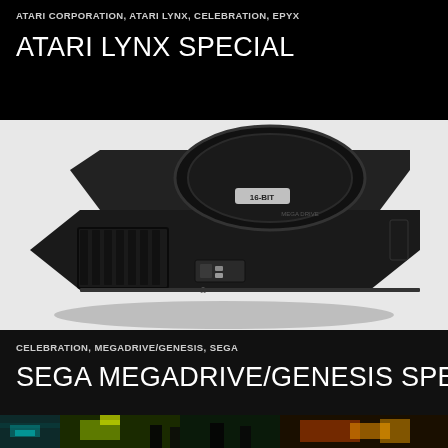ATARI CORPORATION, ATARI LYNX, CELEBRATION, EPYX
ATARI LYNX SPECIAL
[Figure (photo): A Sega Mega Drive / Genesis gaming console photographed from above at an angle on a white background, showing the top of the black console with its cartridge slot lid, 16-BIT label, and Mega Drive branding, as well as the front ports.]
CELEBRATION, MEGADRIVE/GENESIS, SEGA
SEGA MEGADRIVE/GENESIS SPECIAL
[Figure (photo): Partial view of a colorful, illuminated arcade or festival scene at the bottom of the page, showing bright yellow, green, and teal neon-lit environment.]